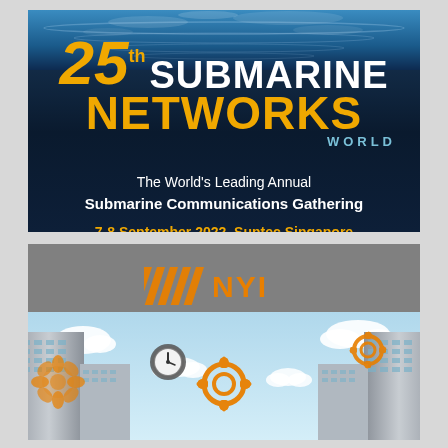[Figure (illustration): 25th Submarine Networks World event banner with dark ocean/water background showing event title in large yellow and white text, tagline, date and website URL]
25th SUBMARINE NETWORKS WORLD
The World's Leading Annual Submarine Communications Gathering
7-8 September 2022, Suntec Singapore
www.terrapinn.com/SNW2022
[Figure (logo): NYI logo with orange diagonal stripe lines before the letters NYI on a grey background, below it is an illustration of city buildings, gears, a clock, and clouds on a light blue sky background]